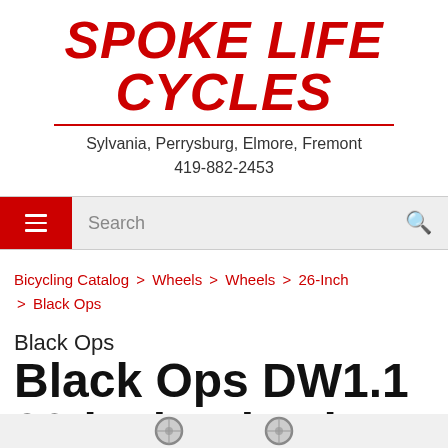SPOKE LIFE CYCLES
Sylvania, Perrysburg, Elmore, Fremont
419-882-2453
Search
Bicycling Catalog > Wheels > Wheels > 26-Inch > Black Ops
Black Ops
Black Ops DW1.1 26-inch Wheelset
[Figure (photo): Partial view of bicycle wheels at the bottom of the page]